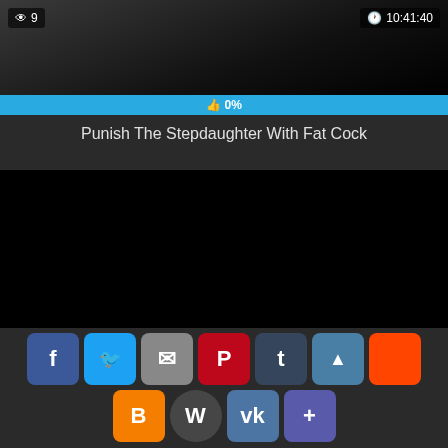[Figure (screenshot): Video thumbnail - partially visible content, dark]
👁 9
🕐 10:41:40
👍 0%
Punish The Stepdaughter With Fat Cock
[Figure (screenshot): Second video thumbnail - black/dark screen]
👁 21
🕐 02:39:38
👍 0%
Y. Ivi Rein... gl... gg... ye... si... & Throa...
[Figure (infographic): Social share buttons row: Facebook, Twitter, Email, Pinterest, Tumblr, Up arrow, Reddit, Blogger, WordPress, VK, Plus]